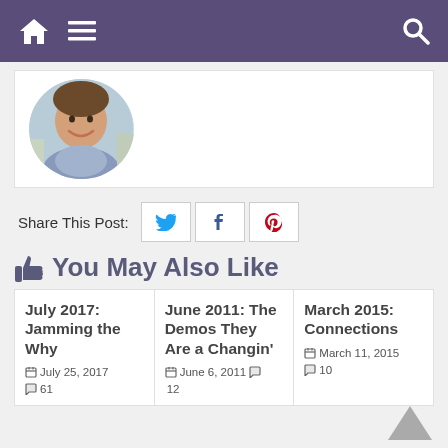Navigation bar with home, menu, and search icons
[Figure (photo): Circular profile photo of a smiling man outdoors in an urban setting]
Share This Post:
[Figure (infographic): Share buttons: Twitter (bird icon), Facebook (f icon), Pinterest (P icon)]
👍 You May Also Like
July 2017: Jamming the Why
July 25, 2017
61 comments
June 2011: The Demos They Are a Changin'
June 6, 2011
12 comments
March 2015: Connections
March 11, 2015
10 comments